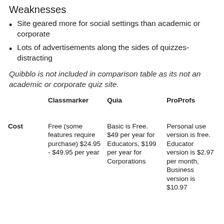Weaknesses
Site geared more for social settings than academic or corporate
Lots of advertisements along the sides of quizzes-distracting
Quibblo is not included in comparison table as its not an academic or corporate quiz site.
|  | Classmarker | Quia | ProProfs |
| --- | --- | --- | --- |
| Cost | Free (some features require purchase) $24.95 - $49.95 per year | Basic is Free. $49 per year for Educators, $199 per year for Corporations | Personal use version is free. Educator version is $2.97 per month, Business version is $10.97... |